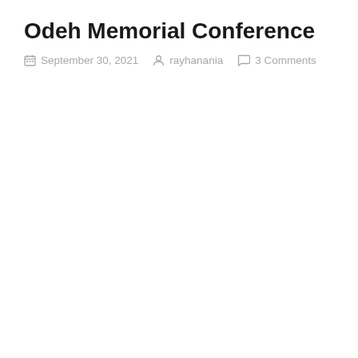Odeh Memorial Conference
September 30, 2021   rayhanania   3 Comments